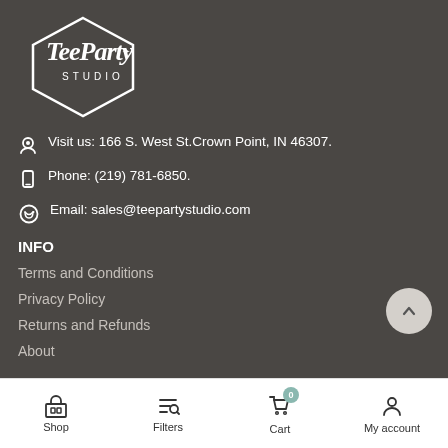[Figure (logo): Tee Party Studio hexagonal logo in white on dark background]
Visit us: 166 S. West St.Crown Point, IN 46307.
Phone: (219) 781-6850.
Email: sales@teepartystudio.com
INFO
Terms and Conditions
Privacy Policy
Returns and Refunds
About
Shop  Filters  Cart  My account